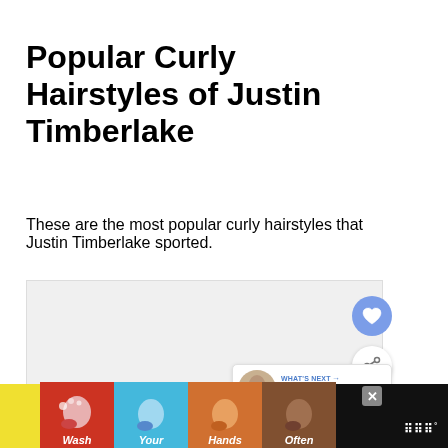Popular Curly Hairstyles of Justin Timberlake
These are the most popular curly hairstyles that Justin Timberlake sported.
[Figure (photo): Large image placeholder area for Justin Timberlake curly hairstyle photo, appears gray/white. UI buttons for heart (favorite) and share overlay on the right side. A 'What's Next' card shows a thumbnail of a person with text '45 Best Hairstyles fo...']
[Figure (screenshot): Advertisement banner at bottom: 'Wash Your Hands Often' with colorful hand illustrations on yellow, red, blue, orange, brown backgrounds. Black bar surrounds ad with close X button and brand logo mark.]